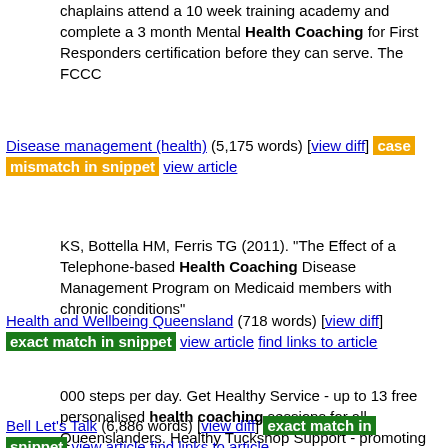chaplains attend a 10 week training academy and complete a 3 month Mental Health Coaching for First Responders certification before they can serve. The FCCC
Disease management (health) (5,175 words) [view diff] case mismatch in snippet view article
KS, Bottella HM, Ferris TG (2011). "The Effect of a Telephone-based Health Coaching Disease Management Program on Medicaid members with chronic conditions"
Health and Wellbeing Queensland (718 words) [view diff] exact match in snippet view article find links to article
000 steps per day. Get Healthy Service - up to 13 free personalised health coaching sessions for all Queenslanders. Healthy Tuckshop Support - promoting
Bell Let's Talk (6,886 words) [view diff] exact match in snippet view article find links to article
difference". www.newswire.ca. Retrieved January